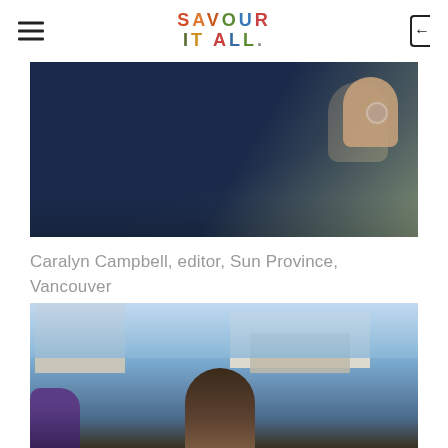SAVOUR IT ALL.
[Figure (photo): Close-up photo of a person in a dark navy top, with another person's hand with a ring visible at right, outdoor setting]
Caralyn Campbell, editor, Sun Province, Vancouver
[Figure (photo): Photo of a person with dark hair standing in front of a building and blue sky, with purple flowers visible on the left]